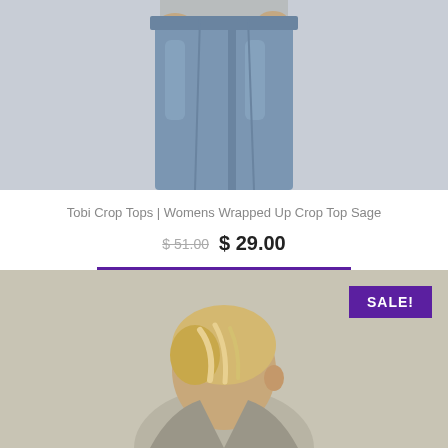[Figure (photo): Cropped view of a person wearing blue jeans against a light grey background]
Tobi Crop Tops | Womens Wrapped Up Crop Top Sage
$51.00  $ 29.00
SELECT OPTIONS
[Figure (photo): Woman with highlighted blonde hair turned slightly, wearing a top, with a SALE! badge in upper right corner, against a beige/taupe background]